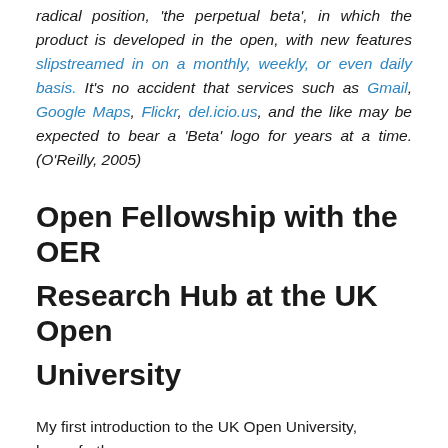radical position, 'the perpetual beta', in which the product is developed in the open, with new features slipstreamed in on a monthly, weekly, or even daily basis. It's no accident that services such as Gmail, Google Maps, Flickr, del.icio.us, and the like may be expected to bear a 'Beta' logo for years at a time. (O'Reilly, 2005)
Open Fellowship with the OER Research Hub at the UK Open University
My first introduction to the UK Open University, henceforth